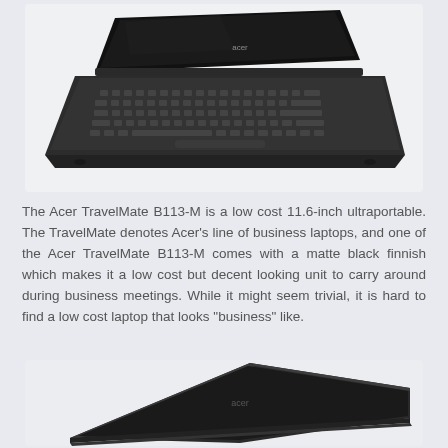[Figure (photo): Photo of an Acer TravelMate B113-M laptop from a front-angled perspective showing the keyboard and slightly opened screen with a black display, viewed from above.]
The Acer TravelMate B113-M is a low cost 11.6-inch ultraportable. The TravelMate denotes Acer's line of business laptops, and one of the Acer TravelMate B113-M comes with a matte black finnish which makes it a low cost but decent looking unit to carry around during business meetings. While it might seem trivial, it is hard to find a low cost laptop that looks "business" like.
[Figure (photo): Photo of the Acer TravelMate B113-M laptop showing the rear/side angle with the lid open, emphasizing the slim matte black profile of the device.]